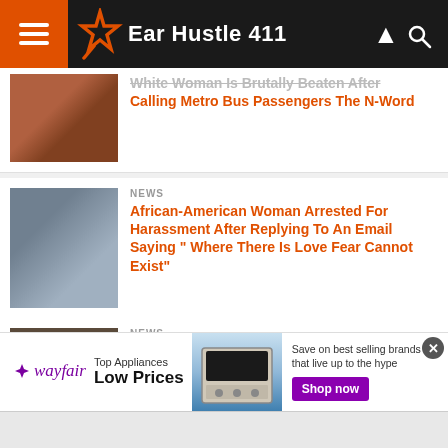Ear Hustle 411
White Woman Is Brutally Beaten After Calling Metro Bus Passengers The N-Word
NEWS — African-American Woman Arrested For Harassment After Replying To An Email Saying " Where There Is Love Fear Cannot Exist"
NEWS — Man Follows Teenage Girl In Bathroom Stall & Her Father Beat Him To Death
[Figure (screenshot): Wayfair advertisement banner: Top Appliances Low Prices, showing kitchen appliance image and Shop now button]